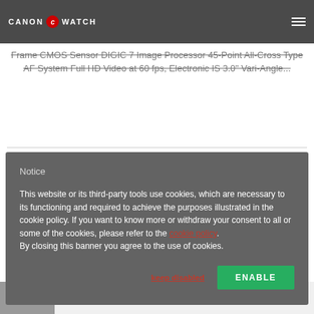CANON WATCH
Frame CMOS Sensor DIGIC 7 Image Processor 45-Point All-Cross Type AF System Full HD Video at 60 fps, Electronic IS 3.0" Vari-Angle...
Notice
This website or its third-party tools use cookies, which are necessary to its functioning and required to achieve the purposes illustrated in the cookie policy. If you want to know more or withdraw your consent to all or some of the cookies, please refer to the cookie policy. By closing this banner you agree to the use of cookies.
keep disabled   ENABLE
sample photos (production